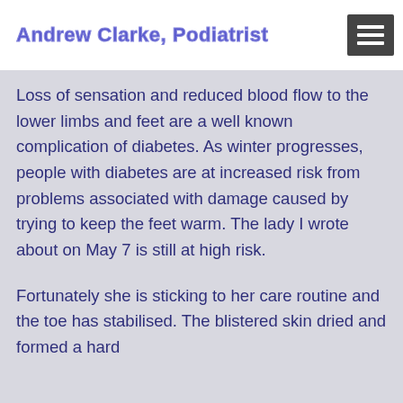Andrew Clarke, Podiatrist
Loss of sensation and reduced blood flow to the lower limbs and feet are a well known complication of diabetes. As winter progresses, people with diabetes are at increased risk from problems associated with damage caused by trying to keep the feet warm. The lady I wrote about on May 7 is still at high risk.
Fortunately she is sticking to her care routine and the toe has stabilised. The blistered skin dried and formed a hard